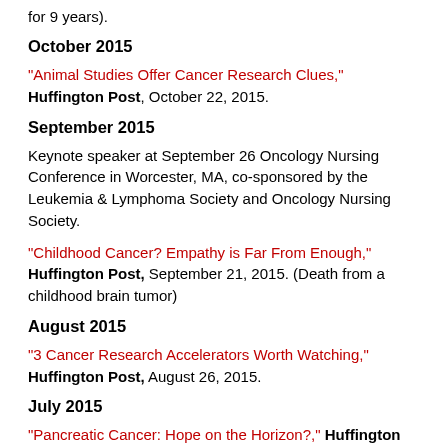for 9 years).
October 2015
"Animal Studies Offer Cancer Research Clues," Huffington Post, October 22, 2015.
September 2015
Keynote speaker at September 26 Oncology Nursing Conference in Worcester, MA, co-sponsored by the Leukemia & Lymphoma Society and Oncology Nursing Society.
"Childhood Cancer? Empathy is Far From Enough," Huffington Post, September 21, 2015. (Death from a childhood brain tumor)
August 2015
"3 Cancer Research Accelerators Worth Watching," Huffington Post, August 26, 2015.
July 2015
"Pancreatic Cancer: Hope on the Horizon?," Huffington Post, July 9, 2015.